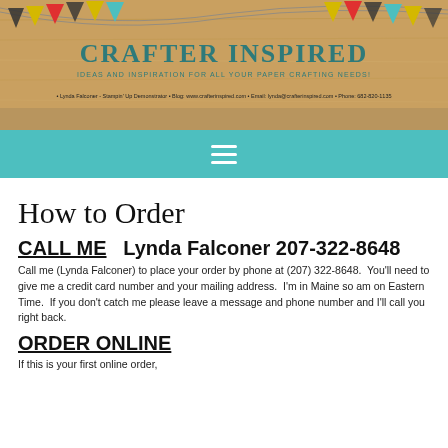[Figure (illustration): Crafter Inspired website header with wood-grain background, colorful bunting/pennant flags, teal navigation bar with hamburger menu icon. Title reads CRAFTER INSPIRED with subtitle IDEAS AND INSPIRATION FOR ALL YOUR PAPER CRAFTING NEEDS! and contact info line.]
CRAFTER INSPIRED — IDEAS AND INSPIRATION FOR ALL YOUR PAPER CRAFTING NEEDS! • Lynda Falconer - Stampin' Up Demonstrator • Blog: www.crafterinspired.com • Email: lynda@crafterinspired.com • Phone: 682-820-1135
How to Order
CALL ME   Lynda Falconer 207-322-8648
Call me (Lynda Falconer) to place your order by phone at (207) 322-8648.  You'll need to give me a credit card number and your mailing address.  I'm in Maine so am on Eastern Time.  If you don't catch me please leave a message and phone number and I'll call you right back.
ORDER ONLINE
If this is your first online order,